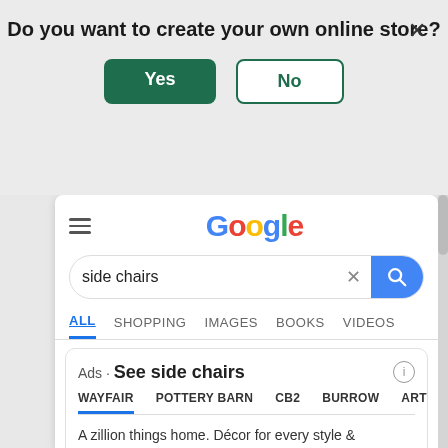Do you want to create your own online store?
[Figure (screenshot): Google search results page for 'side chairs' showing an Ads section with Wayfair, Pottery Barn, CB2, Burrow, and ART store tabs, with ad description and product images with SALE badges.]